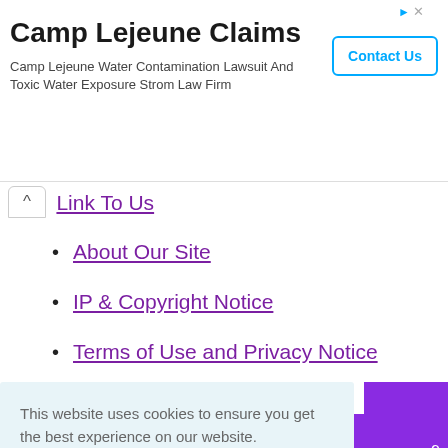[Figure (screenshot): Ad banner for Camp Lejeune Claims with Contact Us button]
Camp Lejeune Claims
Camp Lejeune Water Contamination Lawsuit And Toxic Water Exposure Strom Law Firm
Link To Us
About Our Site
IP & Copyright Notice
Terms of Use and Privacy Notice
This website uses cookies to ensure you get the best experience on our website.
Cookie Policy
Got it!